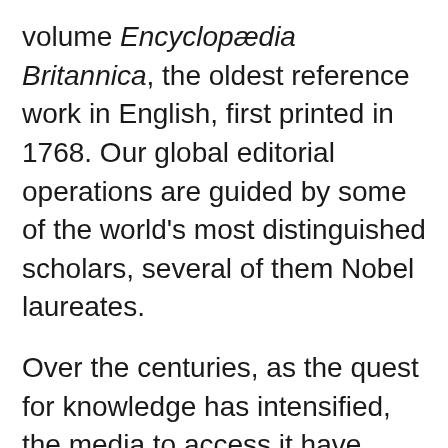volume Encyclopædia Britannica, the oldest reference work in English, first printed in 1768. Our global editorial operations are guided by some of the world's most distinguished scholars, several of them Nobel laureates.
Over the centuries, as the quest for knowledge has intensified, the media to access it have diversified. Our products are now found across the spectrum of traditional and futuristic media, from print to electronic to Web-based. As our repertoire of products expands, our outlook moulds itself to deliver what knowledge seekers need in the digital age.
Our comprehensive catalogue includes encyclopaedias for all age groups from early